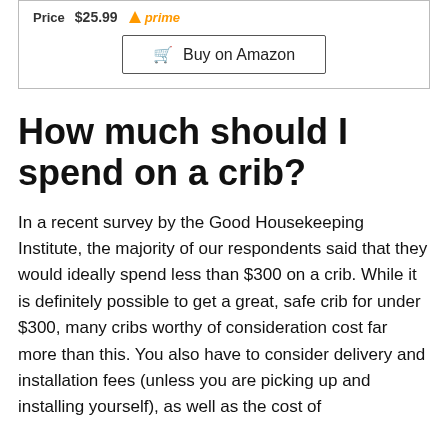[Figure (other): Product price row with label, $25.99 price, and Prime badge, plus a Buy on Amazon button inside a bordered box]
How much should I spend on a crib?
In a recent survey by the Good Housekeeping Institute, the majority of our respondents said that they would ideally spend less than $300 on a crib. While it is definitely possible to get a great, safe crib for under $300, many cribs worthy of consideration cost far more than this. You also have to consider delivery and installation fees (unless you are picking up and installing yourself), as well as the cost of